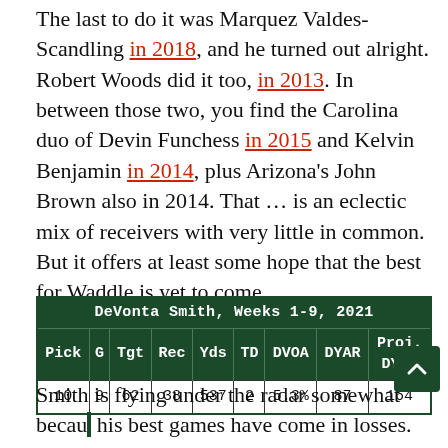The last to do it was Marquez Valdes-Scandling in 2018, and he turned out alright. Robert Woods did it too, in 2013. In between those two, you find the Carolina duo of Devin Funchess in 2015 and Kelvin Benjamin in 2014, plus Arizona's John Brown also in 2014. That … is an eclectic mix of receivers with very little in common. But it offers at least some hope that the best for Waddle is yet to come.
| Pick | G | Tgt | Rec | Yds | TD | DVOA | DYAR | Proj. DYAR |
| --- | --- | --- | --- | --- | --- | --- | --- | --- |
| 10 | 9 | 62 | 38 | 537 | 2 | 5.3% | 87 | 164 |
Smith is flying under the radar somewhat because his best games have come in losses. He had seven catches for 122 yards in defeat against the Chiefs and five for 116 in Sunday's loss to the Chargers. Unfortunately that's nearly 45% of his output on the season, he has averaged just 43.7 yards in his